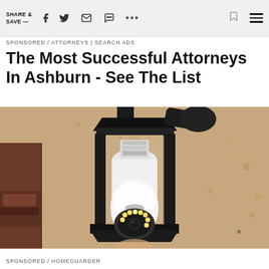SHARE & SAVE —
SPONSORED / ATTORNEYS | SEARCH ADS
The Most Successful Attorneys In Ashburn - See The List
[Figure (photo): A security camera shaped like a light bulb installed inside a black outdoor lantern fixture mounted on a stucco wall. The bulb-style camera has a ring of LED lights and lens at the bottom.]
SPONSORED / HOMEGUARDER